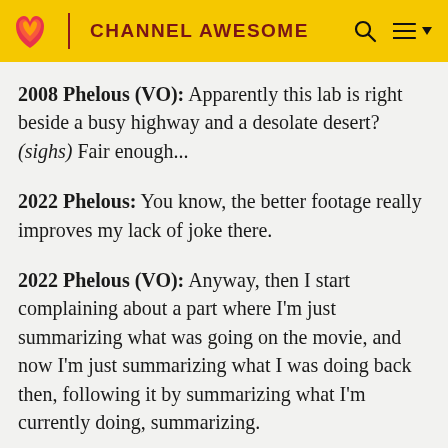CHANNEL AWESOME
2008 Phelous (VO): Apparently this lab is right beside a busy highway and a desolate desert? (sighs) Fair enough...
2022 Phelous: You know, the better footage really improves my lack of joke there.
2022 Phelous (VO): Anyway, then I start complaining about a part where I'm just summarizing what was going on the movie, and now I'm just summarizing what I was doing back then, following it by summarizing what I'm currently doing, summarizing.
2022 Phelous: Sure hope you show up in 2029 to summarize this, Phelan! And now that I made that joke,